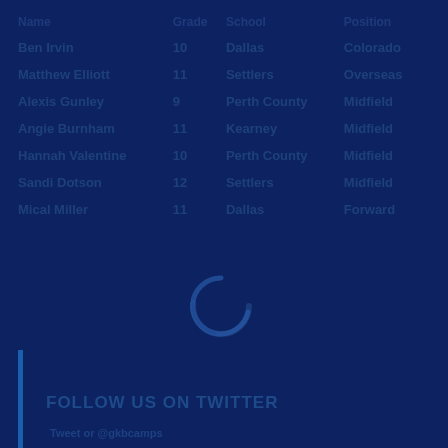| Name | Grade | School | Position |
| --- | --- | --- | --- |
| Ben Irvin | 10 | Dallas | Colorado |
| Matthew Elliott | 11 | Settlers | Overseas |
| Alexis Gunley | 9 | Perth County | Midfield |
| Angie Burnham | 11 | Kearney | Midfield |
| Hannah Valentine | 10 | Perth County | Midfield |
| Sandi Dotson | 12 | Settlers | Midfield |
| Mical Miller | 11 | Dallas | Forward |
FOLLOW US ON TWITTER
Tweet or @gkbcamps